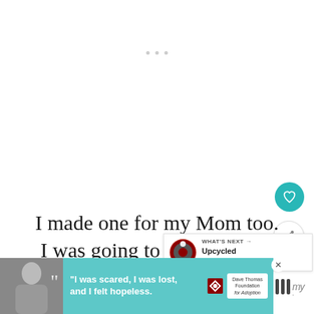[Figure (screenshot): Three small grey dots indicating a menu or loading indicator near the top center of the page]
[Figure (other): Teal circular heart/favorite button on the right side]
[Figure (other): Share button (circular with share icon) on the right side]
I made one for my Mom too. I was going to save it for M Day. But...
[Figure (screenshot): What's Next panel showing 'Upcycled Button Wrea...' with a thumbnail of a wreath]
[Figure (screenshot): Advertisement banner: Dave Thomas Foundation for Adoption, quote 'I was scared, I was lost, and I felt hopeless.' on teal background with photo of a woman]
[Figure (other): Watermark/logo on the right bottom corner]